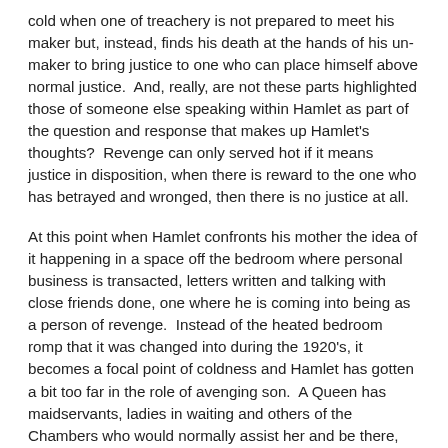cold when one of treachery is not prepared to meet his maker but, instead, finds his death at the hands of his un-maker to bring justice to one who can place himself above normal justice.  And, really, are not these parts highlighted those of someone else speaking within Hamlet as part of the question and response that makes up Hamlet's thoughts?  Revenge can only served hot if it means justice in disposition, when there is reward to the one who has betrayed and wronged, then there is no justice at all.
At this point when Hamlet confronts his mother the idea of it happening in a space off the bedroom where personal business is transacted, letters written and talking with close friends done, one where he is coming into being as a person of revenge.  Instead of the heated bedroom romp that it was changed into during the 1920's, it becomes a focal point of coldness and Hamlet has gotten a bit too far in the role of avenging son.  A Queen has maidservants, ladies in waiting and others of the Chambers who would normally assist her and be there, but in the private Closet there is supposed to be no one who shouldn't be there.  Mind you in the heat of the moment he has forgotten his own father's warning about